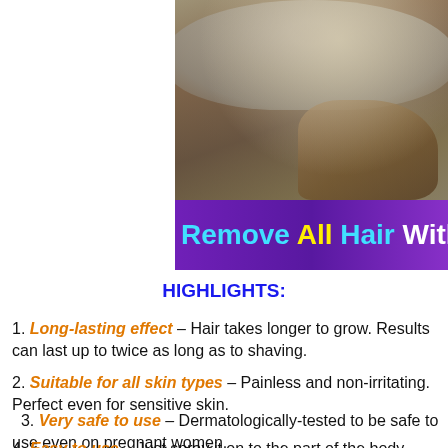[Figure (photo): Photo showing a person's skin/body area with foam/cream applied, partially cropped. Only the right portion of the image is visible.]
Remove All Hair Without Excitements
HIGHLIGHTS:
1. Long-lasting effect – Hair takes longer to grow. Results can last up to twice as long as to shaving.
2. Suitable for all skin types – Painless and non-irritating. Perfect even for sensitive skin.
3. Very safe to use – Dermatologically-tested to be safe to use even on pregnant women.
4. Easy to use – Just spray it on to the part of the body where you want to remove stubborn hair, wait